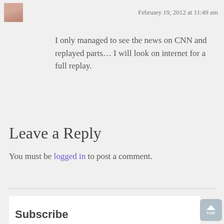February 19, 2012 at 11:49 am
I only managed to see the news on CNN and replayed parts... I will look on internet for a full replay.
Leave a Reply
You must be logged in to post a comment.
Subscribe